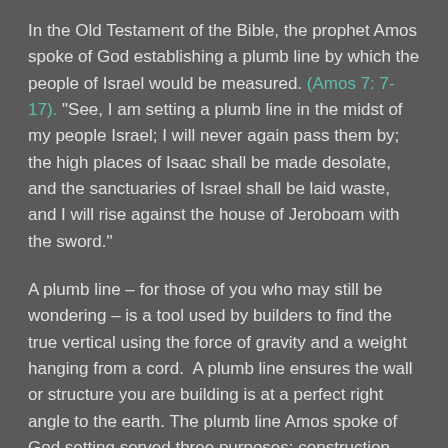In the Old Testament of the Bible, the prophet Amos spoke of God establishing a plumb line by which the people of Israel would be measured. (Amos 7: 7-17). "See, I am setting a plumb line in the midst of my people Israel; I will never again pass them by; the high places of Isaac shall be made desolate, and the sanctuaries of Israel shall be laid waste, and I will rise against the house of Jeroboam with the sword."
A plumb line – for those of you who may still be wondering – is a tool used by builders to find the true vertical using the force of gravity and a weight hanging from a cord.  A plumb line ensures the wall or structure you are building is at a perfect right angle to the earth. The plumb line Amos spoke of God setting served three purposes: construction, testing what is built, and